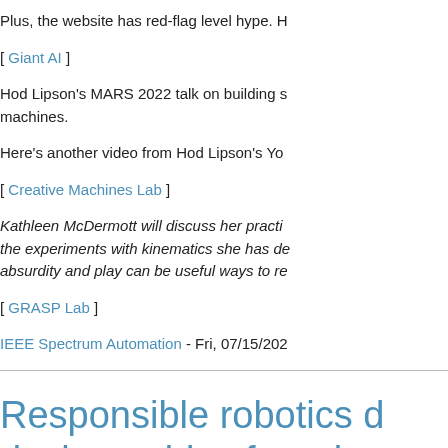Plus, the website has red-flag level hype. H
[ Giant AI ]
Hod Lipson's MARS 2022 talk on building s machines.
Here's another video from Hod Lipson's Yo
[ Creative Machines Lab ]
Kathleen McDermott will discuss her practi the experiments with kinematics she has de absurdity and play can be useful ways to re
[ GRASP Lab ]
IEEE Spectrum Automation - Fri, 07/15/202
Responsible robotics d design guides for robo
Application of robotics and automation in pa